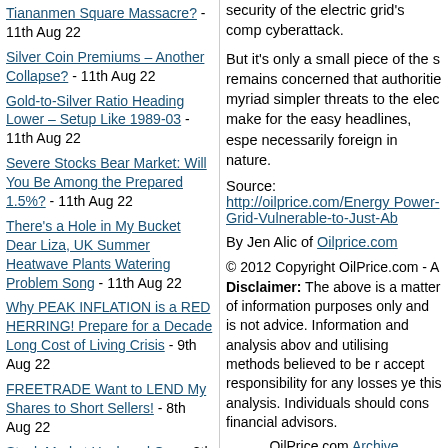Tiananmen Square Massacre? - 11th Aug 22
Silver Coin Premiums – Another Collapse? - 11th Aug 22
Gold-to-Silver Ratio Heading Lower – Setup Like 1989-03 - 11th Aug 22
Severe Stocks Bear Market: Will You Be Among the Prepared 1.5%? - 11th Aug 22
There's a Hole in My Bucket Dear Liza, UK Summer Heatwave Plants Watering Problem Song - 11th Aug 22
Why PEAK INFLATION is a RED HERRING! Prepare for a Decade Long Cost of Living Crisis - 9th Aug 22
FREETRADE Want to LEND My Shares to Short Sellers! - 8th Aug 22
Stock Market Unclosed Gap - 8th Aug 22
security of the electric grid's comp cyberattack.
But it's only a small piece of the s remains concerned that authoritie myriad simpler threats to the elec make for the easy headlines, espe necessarily foreign in nature.
Source: http://oilprice.com/Energy Power-Grid-Vulnerable-to-Just-Ab
By Jen Alic of Oilprice.com
© 2012 Copyright OilPrice.com - A Disclaimer: The above is a matter of information purposes only and is not advice. Information and analysis abov and utilising methods believed to be r accept responsibility for any losses ye this analysis. Individuals should cons financial advisors.
OilPrice.com Archive
© 2005-2019 http://www.MarketO